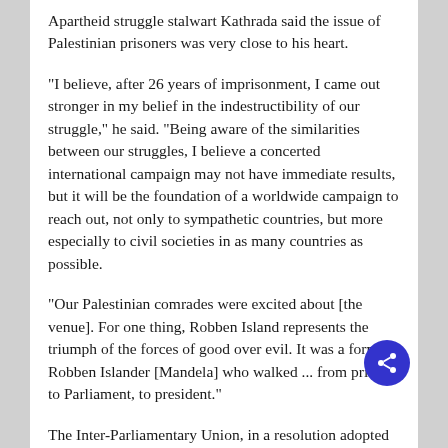Apartheid struggle stalwart Kathrada said the issue of Palestinian prisoners was very close to his heart.
"I believe, after 26 years of imprisonment, I came out stronger in my belief in the indestructibility of our struggle," he said. "Being aware of the similarities between our struggles, I believe a concerted international campaign may not have immediate results, but it will be the foundation of a worldwide campaign to reach out, not only to sympathetic countries, but more especially to civil societies in as many countries as possible.
"Our Palestinian comrades were excited about [the venue]. For one thing, Robben Island represents the triumph of the forces of good over evil. It was a former Robben Islander [Mandela] who walked ... from prison to Parliament, to president."
The Inter-Parliamentary Union, in a resolution adopted unanimously on October 19 2011, stated that Barghouthi's arrest and transfer to Israeli territory was "in violation of international law" and it sought to call for...